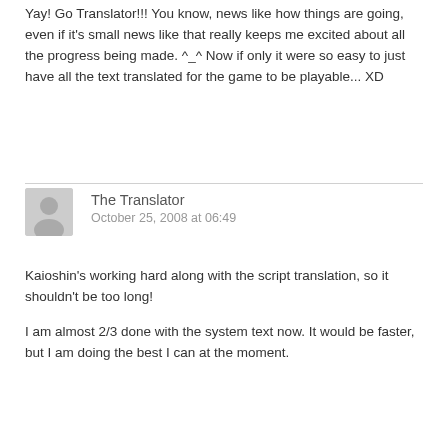Yay! Go Translator!!! You know, news like how things are going, even if it's small news like that really keeps me excited about all the progress being made. ^_^ Now if only it were so easy to just have all the text translated for the game to be playable... XD
The Translator
October 25, 2008 at 06:49
Kaioshin's working hard along with the script translation, so it shouldn't be too long!
I am almost 2/3 done with the system text now. It would be faster, but I am doing the best I can at the moment.